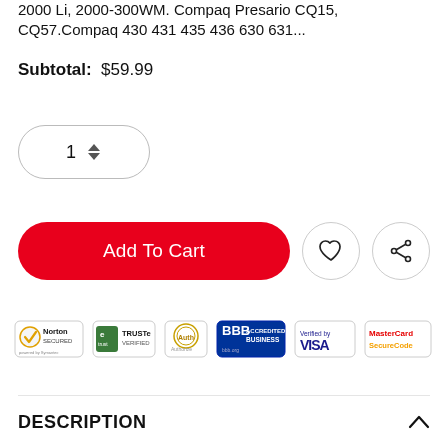2000 Li, 2000-300WM. Compaq Presario CQ15, CQ57.Compaq 430 431 435 436 630 631...
Subtotal:  $59.99
[Figure (screenshot): Quantity spinner showing value 1 with up/down arrows]
[Figure (screenshot): Add To Cart button (red rounded) with heart and share icon buttons]
[Figure (infographic): Trust badges row: Norton Secured, TRUSTe Verified, Authorize.Net, BBB Accredited Business, Verified by VISA, MasterCard SecureCode]
DESCRIPTION